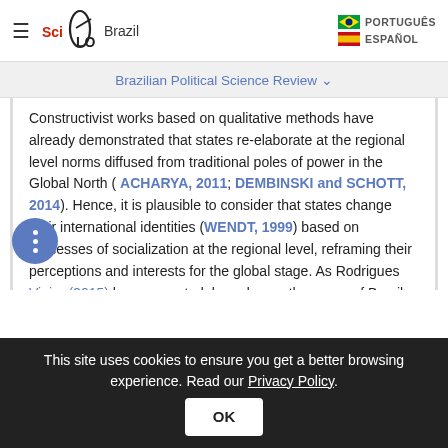SciELO Brazil | PORTUGUÊS | ESPAÑOL
Brazilian Political Science Review
Constructivist works based on qualitative methods have already demonstrated that states re-elaborate at the regional level norms diffused from traditional poles of power in the Global North (ACHARYA, 2011; DEMBINSKI and SCHOTT, 2014). Hence, it is plausible to consider that states change their international identities (WENDT, 1999) based on processes of socialization at the regional level, reframing their perceptions and interests for the global stage. As Rodrigues Vieira (2015) has suggested, based upon the cases of Brazil and India in the multilateral trading system, their
This site uses cookies to ensure you get a better browsing experience. Read our Privacy Policy.